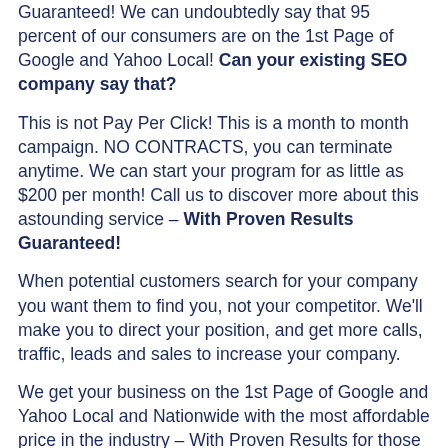Guaranteed! We can undoubtedly say that 95 percent of our consumers are on the 1st Page of Google and Yahoo Local! Can your existing SEO company say that?
This is not Pay Per Click! This is a month to month campaign. NO CONTRACTS, you can terminate anytime. We can start your program for as little as $200 per month! Call us to discover more about this astounding service – With Proven Results Guaranteed!
When potential customers search for your company you want them to find you, not your competitor. We'll make you to direct your position, and get more calls, traffic, leads and sales to increase your company.
We get your business on the 1st Page of Google and Yahoo Local and Nationwide with the most affordable price in the industry – With Proven Results for those across the Klinkwan HistoricalAlaska!